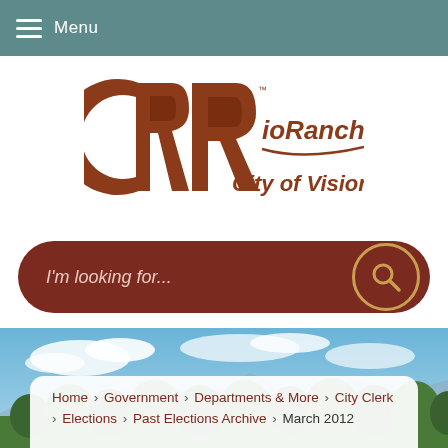Menu
[Figure (logo): Rio Rancho City of Vision logo — two overlapping R letters in brown/terra cotta with 'RioRancho' and 'City of Vision' text]
I'm looking for...
[Figure (photo): Landscape scenic photo of Rio Rancho area showing blue sky with clouds and green trees/vegetation along a river or terrain]
Home › Government › Departments & More › City Clerk › Elections › Past Elections Archive › March 2012